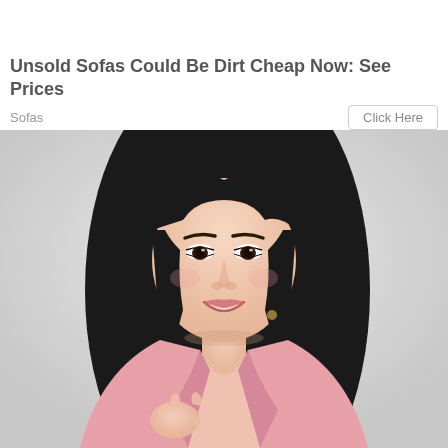Unsold Sofas Could Be Dirt Cheap Now: See Prices
Sofas
Click Here
[Figure (photo): A smiling young Asian woman with long dark hair, wearing a pink blazer, photographed against a light grey/white background, upper body portrait shot.]